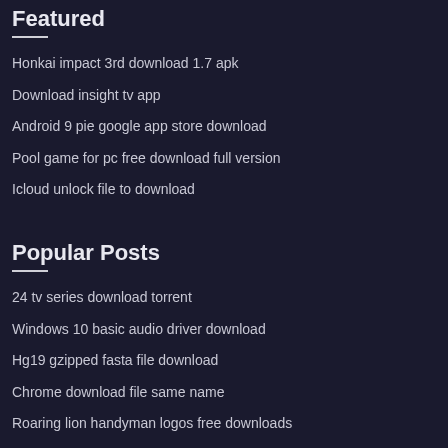Featured
Honkai impact 3rd download 1.7 apk
Download insight tv app
Android 9 pie google app store download
Pool game for pc free download full version
Icloud unlock file to download
Popular Posts
24 tv series download torrent
Windows 10 basic audio driver download
Hg19 gzipped fasta file download
Chrome download file same name
Roaring lion handyman logos free downloads